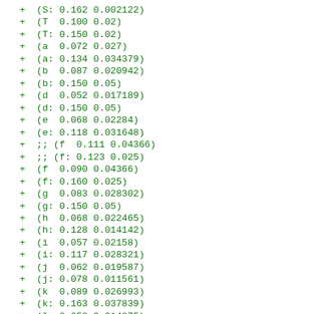+ (S: 0.162 0.002122)
+ (T  0.100 0.02)
+ (T: 0.150 0.02)
+ (a  0.072 0.027)
+ (a: 0.134 0.034379)
+ (b  0.087 0.020942)
+ (b: 0.150 0.05)
+ (d  0.052 0.017189)
+ (d: 0.150 0.05)
+ (e  0.068 0.02284)
+ (e: 0.118 0.031648)
+ ;; (f  0.111 0.04366)
+ ;; (f: 0.123 0.025)
+ (f  0.090 0.04366)
+ (f: 0.160 0.025)
+ (g  0.083 0.028302)
+ (g: 0.150 0.05)
+ (h  0.068 0.022465)
+ (h: 0.128 0.014142)
+ (i  0.057 0.02158)
+ (i: 0.117 0.028321)
+ (j  0.062 0.019587)
+ (j: 0.078 0.011561)
+ (k  0.089 0.026993)
+ (k: 0.163 0.037839)
+ (l  0.058 0.014875)
+ ;; (l: 0.085 0.026515)
+ (l: 0.130 0.025)
+ (m  0.067 0.018604)
+ (m: 0.101 0.021473)